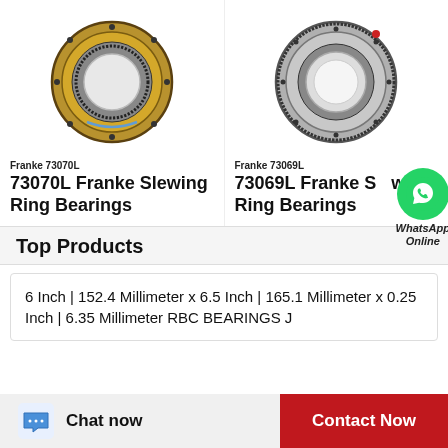[Figure (photo): Franke 73070L slewing ring bearing, gold/brass colored with gear teeth, circular shape]
[Figure (photo): Franke 73069L slewing ring bearing, silver/metallic colored with gear teeth, circular shape]
Franke 73070L
Franke 73069L
73070L Franke Slewing Ring Bearings
73069L Franke Slewing Ring Bearings
[Figure (logo): WhatsApp green circle icon with phone handset]
WhatsApp Online
Top Products
6 Inch | 152.4 Millimeter x 6.5 Inch | 165.1 Millimeter x 0.25 Inch | 6.35 Millimeter RBC BEARINGS J
Chat now  Contact Now